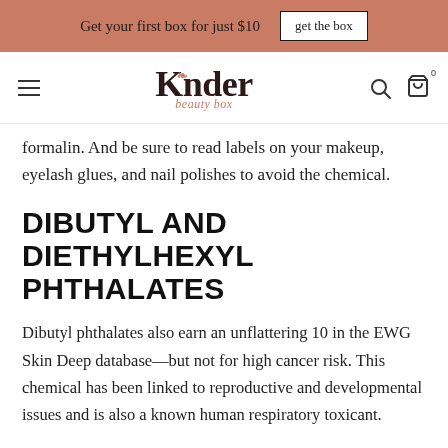Get your first box for just $10 | get the box
[Figure (logo): Kinder Beauty Box logo with hamburger menu, search and cart icons]
formalin. And be sure to read labels on your makeup, eyelash glues, and nail polishes to avoid the chemical.
DIBUTYL AND DIETHYLHEXYL PHTHALATES
Dibutyl phthalates also earn an unflattering 10 in the EWG Skin Deep database—but not for high cancer risk. This chemical has been linked to reproductive and developmental issues and is also a known human respiratory toxicant.